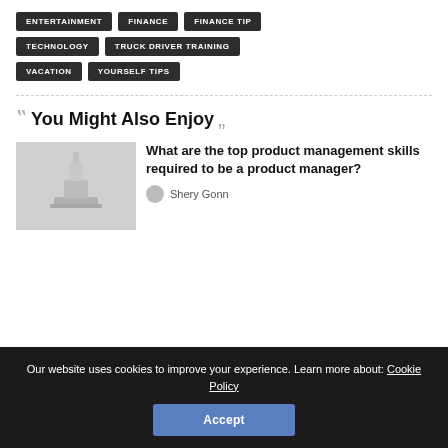ENTERTAINMENT
FINANCE
FINANCE TIP
TECHNOLOGY
TRUCK DRIVER TRAINING
VACATION
YOURSELF TIPS
You Might Also Enjoy
[Figure (photo): Product management related image with stacked objects on a table]
What are the top product management skills required to be a product manager?
Shery Gonn
Our website uses cookies to improve your experience. Learn more about: Cookie Policy
Accept